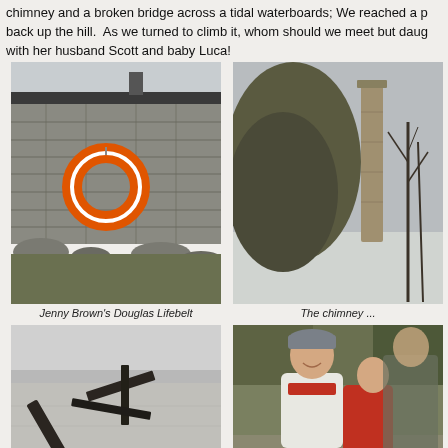chimney and a broken bridge across a tidal waterboard; We reached a point back up the hill.  As we turned to climb it, whom should we meet but daug with her husband Scott and baby Luca!
[Figure (photo): Stone wall of a building with an orange lifebuoy (ring) hanging on it, grey overcast sky, winter trees in background]
Jenny Brown's Douglas Lifebelt
[Figure (photo): A tall stone chimney stack standing next to a large tree, icy or frosty ground, bare winter trees]
The chimney ...
[Figure (photo): Black and white photo of a broken wooden boat or bridge structure on a tidal flat or estuary with low tide, sandy mud flats, calm water in background]
[Figure (photo): A smiling woman wearing a grey hat and white jacket, with a baby in a red carrier on her back, woodland trail in background]